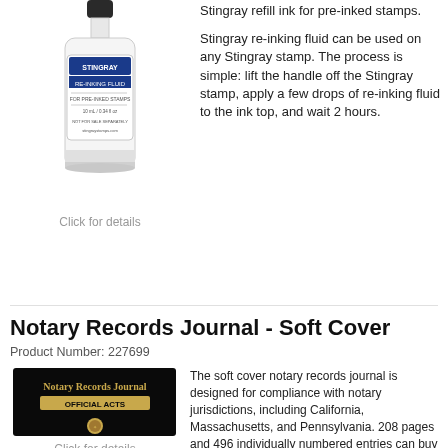[Figure (photo): Stingray re-inking fluid bottle, small white bottle with label]
Click for details
Stingray refill ink for pre-inked stamps.
Stingray re-inking fluid can be used on any Stingray stamp. The process is simple: lift the handle off the Stingray stamp, apply a few drops of re-inking fluid to the ink top, and wait 2 hours.
Notary Records Journal - Soft Cover
Product Number: 227699
[Figure (photo): Black soft cover Notary Records Journal with gold text 'Notary Records Journal OFFICIAL ACTS' and gold seal emblem]
Click for details
The soft cover notary records journal is designed for compliance with notary jurisdictions, including California, Massachusetts, and Pennsylvania. 208 pages and 496 individually numbered entries can buy with confidence knowing the Notary Records Journal was printed in USA. This durable soft cover notary jo...